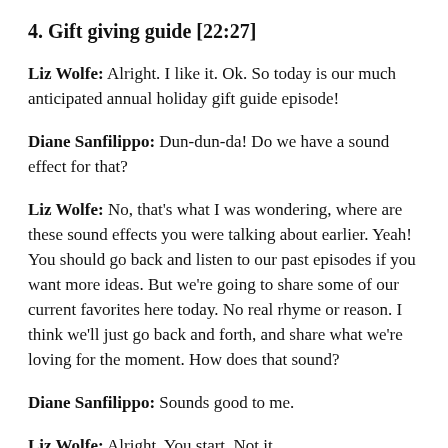4. Gift giving guide [22:27]
Liz Wolfe: Alright. I like it. Ok. So today is our much anticipated annual holiday gift guide episode!
Diane Sanfilippo: Dun-dun-da! Do we have a sound effect for that?
Liz Wolfe: No, that's what I was wondering, where are these sound effects you were talking about earlier. Yeah! You should go back and listen to our past episodes if you want more ideas. But we're going to share some of our current favorites here today. No real rhyme or reason. I think we'll just go back and forth, and share what we're loving for the moment. How does that sound?
Diane Sanfilippo: Sounds good to me.
Liz Wolfe: Alright. You start. Not it.